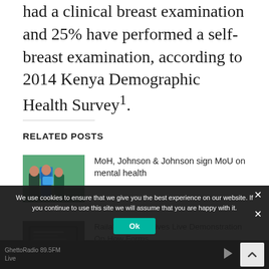had a clinical breast examination and 25% have performed a self-breast examination, according to 2014 Kenya Demographic Health Survey¹.
RELATED POSTS
[Figure (photo): Photo of three people in an office setting, one holding a blue box or package]
MoH, Johnson & Johnson sign MoU on mental health
[Figure (photo): Dark screenshot of a computer or display screen]
Raila's Lawyer Gives Live Demonstration On How Forms...
Jose Camargo decided the president-elect of Kenya...
We use cookies to ensure that we give you the best experience on our website. If you continue to use this site we will assume that you are happy with it.
Ok
GhettoRadio 89.5FM Live